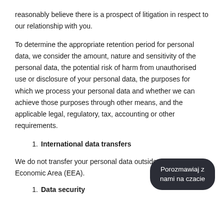reasonably believe there is a prospect of litigation in respect to our relationship with you.
To determine the appropriate retention period for personal data, we consider the amount, nature and sensitivity of the personal data, the potential risk of harm from unauthorised use or disclosure of your personal data, the purposes for which we process your personal data and whether we can achieve those purposes through other means, and the applicable legal, regulatory, tax, accounting or other requirements.
1. International data transfers
We do not transfer your personal data outside the European Economic Area (EEA).
1. Data security